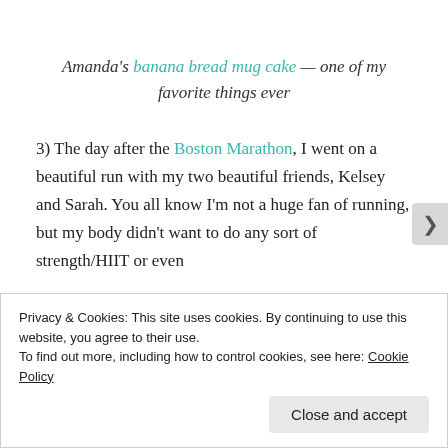Amanda's banana bread mug cake — one of my favorite things ever
3) The day after the Boston Marathon, I went on a beautiful run with my two beautiful friends, Kelsey and Sarah. You all know I'm not a huge fan of running, but my body didn't want to do any sort of strength/HIIT or even
Privacy & Cookies: This site uses cookies. By continuing to use this website, you agree to their use. To find out more, including how to control cookies, see here: Cookie Policy
Close and accept